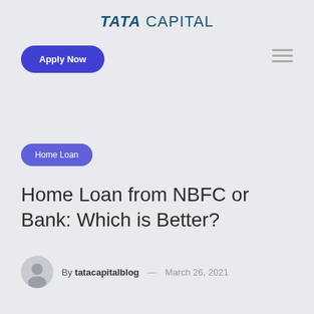TATA CAPITAL
Apply Now
Home Loan
Home Loan from NBFC or Bank: Which is Better?
By tatacapitalblog — March 26, 2021